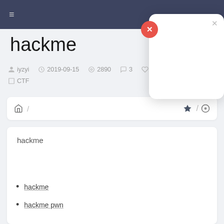≡
[Figure (screenshot): Modal dialog with red close button (×) and gray X in top right corner]
hackme
iyzyi  2019-09-15  2890  3  57328  # CTF
🏠 /  ★ / 微博
hackme
hackme
hackme pwn